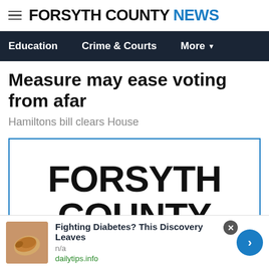FORSYTH COUNTY NEWS
Education   Crime & Courts   More
Measure may ease voting from afar
Hamiltons bill clears House
[Figure (logo): Forsyth County logo placeholder showing large bold text FORSYTH COUNTY on white background with blue border]
Fighting Diabetes? This Discovery Leaves
n/a
dailytips.info